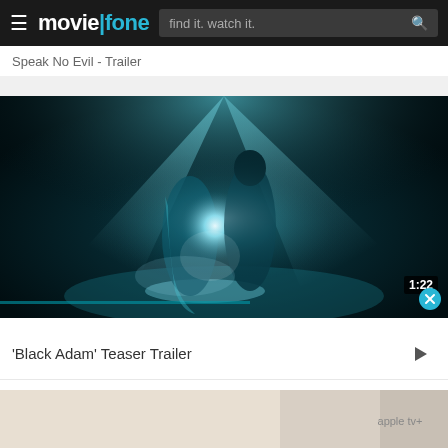moviefone — find it. watch it.
Speak No Evil - Trailer
[Figure (screenshot): Movie still from Black Adam teaser trailer: two figures in a dramatic confrontation with teal-colored lighting, glowing energy burst between them, dark cavernous background with rays of light from above. Duration badge shows 1:22 in bottom right corner.]
'Black Adam' Teaser Trailer
[Figure (photo): Bottom strip showing partial view of another movie image with light-colored scene.]